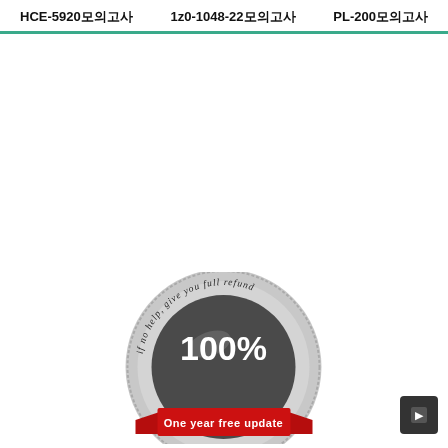HCE-5920모의고사  1z0-1048-22모의고사  PL-200모의고사
[Figure (illustration): A circular silver medal/badge with text 'if no help, give you full refund' around the border, '100%' in the center, and a red ribbon banner at the bottom reading 'One year free update']